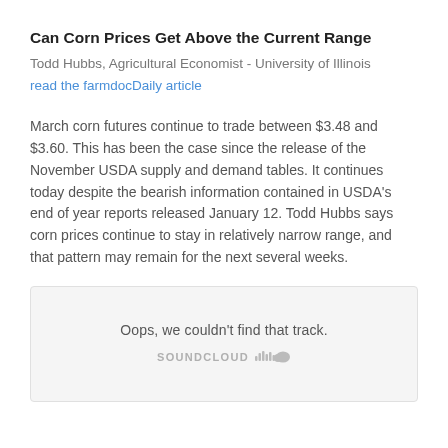Can Corn Prices Get Above the Current Range
Todd Hubbs, Agricultural Economist - University of Illinois
read the farmdocDaily article
March corn futures continue to trade between $3.48 and $3.60. This has been the case since the release of the November USDA supply and demand tables. It continues today despite the bearish information contained in USDA’s end of year reports released January 12. Todd Hubbs says corn prices continue to stay in relatively narrow range, and that pattern may remain for the next several weeks.
[Figure (screenshot): SoundCloud embedded player widget showing error message: 'Oops, we couldn’t find that track.' with SoundCloud logo/branding below.]